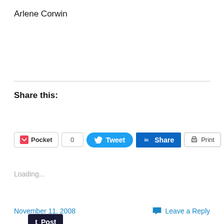Arlene Corwin
Share this:
[Figure (screenshot): Social sharing buttons: Post (Tumblr), Pocket with count 0, Tweet, Share (LinkedIn), Print, More]
Loading...
November 11, 2008
Leave a Reply